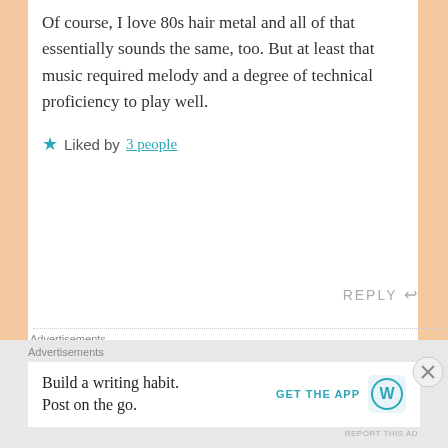Of course, I love 80s hair metal and all of that essentially sounds the same, too. But at least that music required melody and a degree of technical proficiency to play well.
Liked by 3 people
REPLY
Advertisements
[Figure (other): Dark advertisement banner: Launch your online course with WordPress - Learn More button]
REPORT THIS AD
Advertisements
[Figure (other): White advertisement banner: Build a writing habit. Post on the go. GET THE APP with WordPress logo]